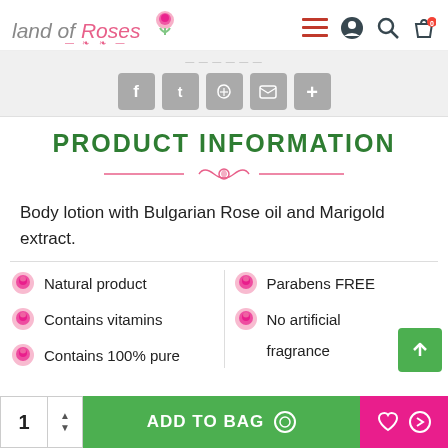Land of Roses
[Figure (infographic): Social share buttons: Facebook, Twitter, Pinterest, Email, Plus]
PRODUCT INFORMATION
[Figure (illustration): Pink decorative floral divider line]
Body lotion with Bulgarian Rose oil and Marigold extract.
Natural product
Contains vitamins
Contains 100% pure...
Parabens FREE
No artificial fragrance